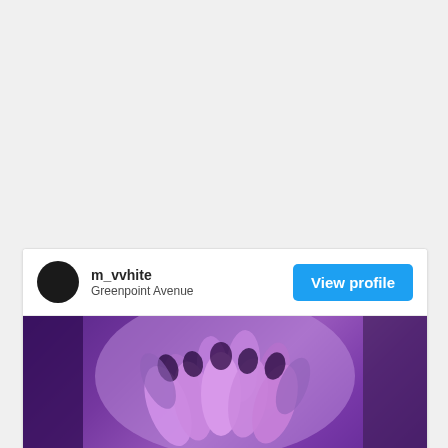[Figure (photo): Social media card for user m_vvhite at Greenpoint Avenue, showing a photo of purple/violet tulips against a purple background. Card includes user avatar (black circle), username, location, and a blue 'View profile' button.]